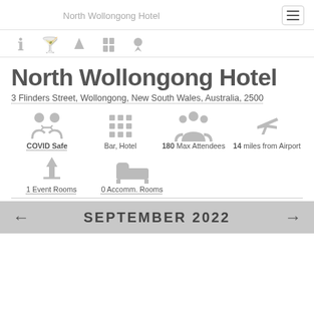North Wollongong Hotel
North Wollongong Hotel
3 Flinders Street, Wollongong, New South Wales, Australia, 2500
[Figure (infographic): Four amenity icons: COVID Safe (people with arrows), Bar/Hotel (building grid), 180 Max Attendees (group of people), 14 miles from Airport (airplane)]
[Figure (infographic): Two amenity icons: 1 Event Rooms (cocktail glass), 0 Accomm. Rooms (bed icon)]
SEPTEMBER 2022